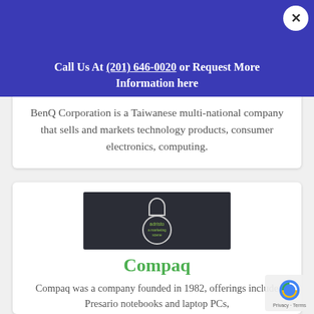Call Us At (201) 646-0020 or Request More Information here
BenQ Corporation is a Taiwanese multi-national company that sells and markets technology products, consumer electronics, computing.
[Figure (logo): Dark background logo image with a round figure and 'adristo' text]
Compaq
Compaq was a company founded in 1982, offerings include Presario notebooks and laptop PCs,